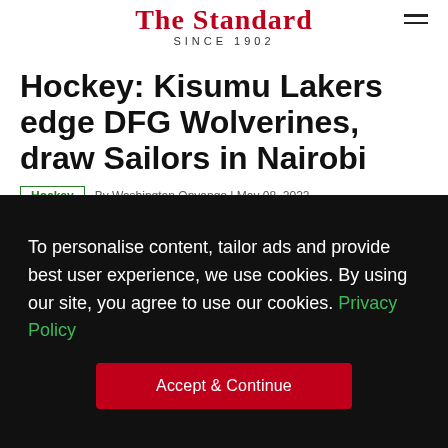The Standard SINCE 1902
Hockey: Kisumu Lakers edge DFG Wolverines, draw Sailors in Nairobi
Hockey | By Washington Onyango | May 08, 2022
To personalise content, tailor ads and provide best user experience, we use cookies. By using our site, you agree to use our cookies. Privacy Policy
Accept & Continue